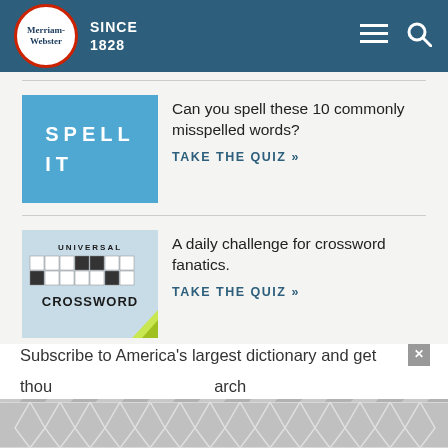Merriam-Webster SINCE 1828
[Figure (screenshot): Spell It quiz thumbnail — blue background with white bold letters reading SPELL IT]
Can you spell these 10 commonly misspelled words?
TAKE THE QUIZ »
[Figure (screenshot): Universal Crossword quiz thumbnail — crossword grid with yellow-green element]
A daily challenge for crossword fanatics.
TAKE THE QUIZ »
Love words? Need even more definitions?
Subscribe to America's largest dictionary and get thousands more definitions and advanced search—arch